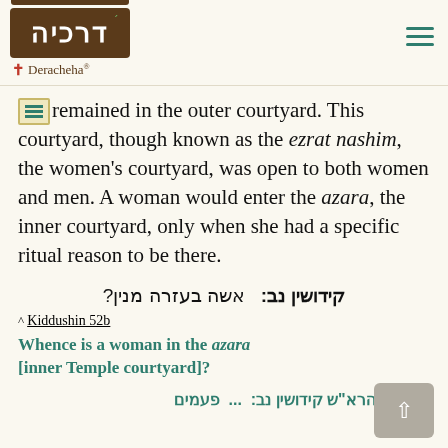Deracheha
remained in the outer courtyard. This courtyard, though known as the ezrat nashim, the women's courtyard, was open to both women and men. A woman would enter the azara, the inner courtyard, only when she had a specific ritual reason to be there.
קידושין נב:   אשה בעזרה מנין?
^ Kiddushin 52b
Whence is a woman in the azara [inner Temple courtyard]?
תוספות הרא"ש קידושין נב:  ...  פעמים